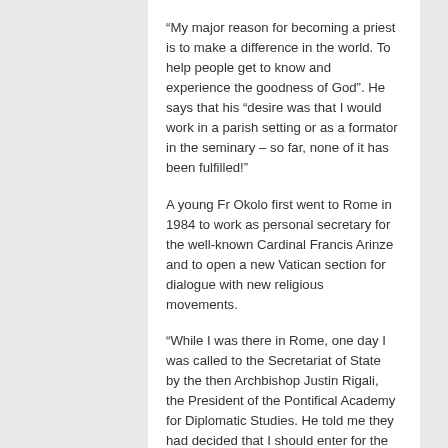“My major reason for becoming a priest is to make a difference in the world. To help people get to know and experience the goodness of God”. He says that his “desire was that I would work in a parish setting or as a formator in the seminary – so far, none of it has been fulfilled!”
A young Fr Okolo first went to Rome in 1984 to work as personal secretary for the well-known Cardinal Francis Arinze and to open a new Vatican section for dialogue with new religious movements.
“While I was there in Rome, one day I was called to the Secretariat of State by the then Archbishop Justin Rigali, the President of the Pontifical Academy for Diplomatic Studies. He told me they had decided that I should enter for the diplomatic service.
“I asked to consult my bishop; he replied that my bishop had already given his consent!” Archbishop Okolo recalls.